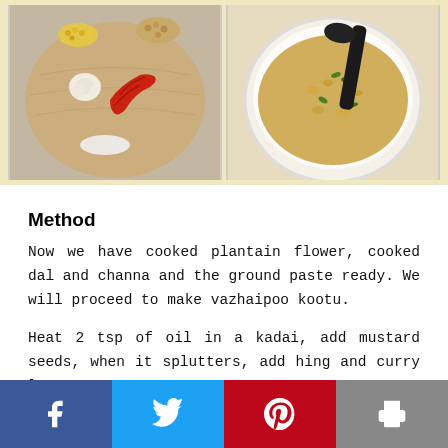[Figure (photo): Two food photos side by side: left shows spices (lentils, mustard seeds, garlic, red chillies, salt) on a wooden plate; right shows a bowl of vazhaipoo kootu curry with a black spoon.]
Method
Now we have cooked plantain flower, cooked dal and channa and the ground paste ready. We will proceed to make vazhaipoo kootu.
Heat 2 tsp of oil in a kadai, add mustard seeds, when it splutters, add hing and curry leaves.
Facebook | Twitter | Pinterest | Print